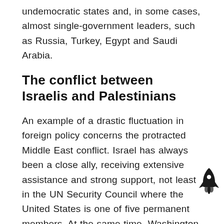undemocratic states and, in some cases, almost single-government leaders, such as Russia, Turkey, Egypt and Saudi Arabia.
The conflict between Israelis and Palestinians
An example of a drastic fluctuation in foreign policy concerns the protracted Middle East conflict. Israel has always been a close ally, receiving extensive assistance and strong support, not least in the UN Security Council where the United States is one of five permanent members. At the same time, Washington has supported the idea of a two-state solution, with a Palestinian state alongside the Israeli. Several US presidents have tried to come to a solution to the conflict
[Figure (illustration): Small rocket ship icon in black, positioned to the right of the text paragraph]